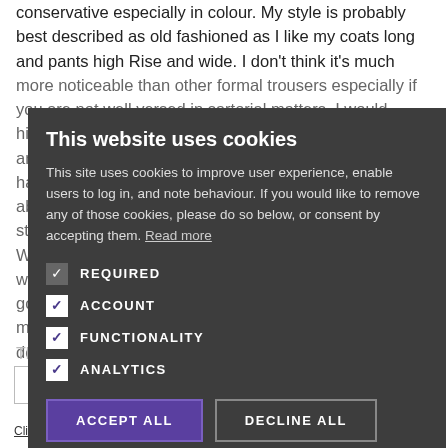conservative especially in colour. My style is probably best described as old fashioned as I like my coats long and pants high Rise and wide. I don't think it's much more noticeable than other formal trousers especially if you are not well versed in sartorial matters. I would highly recommend that you try Kit Blake trousers. They are my taste when it comes to style and I would be happy with the quality and cost; also, I will talk to you about some of the trouser makers in the industry. I was struggling to explain what kind of trousers I like. The Wide high rise trousers Are immensely comfortable to walk in and if you have your coat on, nobody is really going to notice how high they are. These trousers make me feel like a gentleman in the same way proper shoes do, not
[Figure (screenshot): Cookie consent overlay with title 'This website uses cookies', body text about cookies, checkboxes for REQUIRED, ACCOUNT, FUNCTIONALITY, ANALYTICS, and buttons ACCEPT ALL and DECLINE ALL]
The traditional style trouser
CLICK HERE TO REGISTER
Click here to read our Privacy Policy